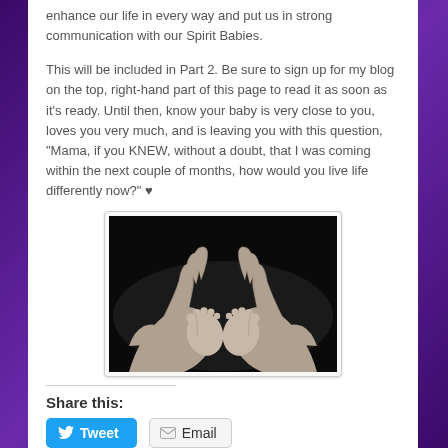enhance our life in every way and put us in strong communication with our Spirit Babies.
This will be included in Part 2. Be sure to sign up for my blog on the top, right-hand part of this page to read it as soon as it’s ready. Until then, know your baby is very close to you, loves you very much, and is leaving you with this question, “Mama, if you KNEW, without a doubt, that I was coming within the next couple of months, how would you live life differently now?” ♥
[Figure (photo): Black and white photograph of two adult hands forming a heart shape with baby feet placed inside, shot against a dark background.]
Share this:
Tweet  Email
By Kate Street • prebirth communication, spirit baby wisdom, trying to conceive •